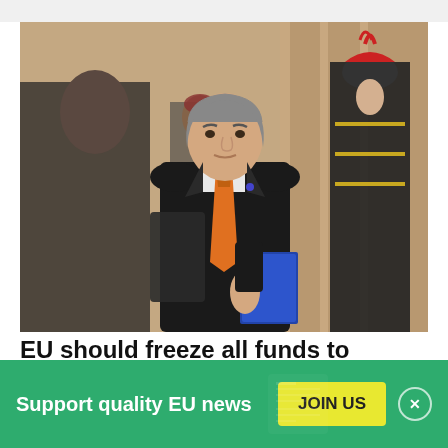[Figure (photo): A man in a dark suit with an orange tie walks forward holding a blue folder. He appears to be Viktor Orbán. In the background are guards in formal military uniforms with red-plumed helmets, and a stone building facade.]
EU should freeze all funds to Hungary,
Support quality EU news
JOIN US